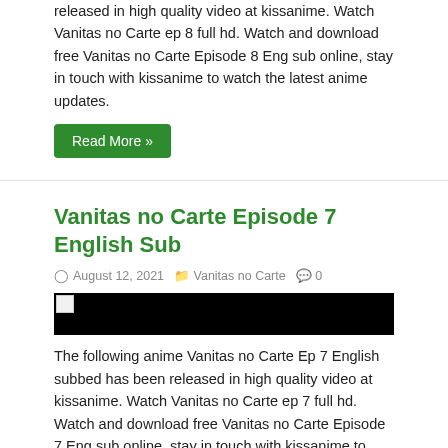released in high quality video at kissanime. Watch Vanitas no Carte ep 8 full hd. Watch and download free Vanitas no Carte Episode 8 Eng sub online, stay in touch with kissanime to watch the latest anime updates.
Read More »
Vanitas no Carte Episode 7 English Sub
August 12, 2021   Vanitas no Carte   0
[Figure (photo): Black image banner with broken image icon in top left corner]
The following anime Vanitas no Carte Ep 7 English subbed has been released in high quality video at kissanime. Watch Vanitas no Carte ep 7 full hd. Watch and download free Vanitas no Carte Episode 7 Eng sub online, stay in touch with kissanime to watch the latest anime updates.
Read More »
Vanitas no Carte Episode 6 English Sub